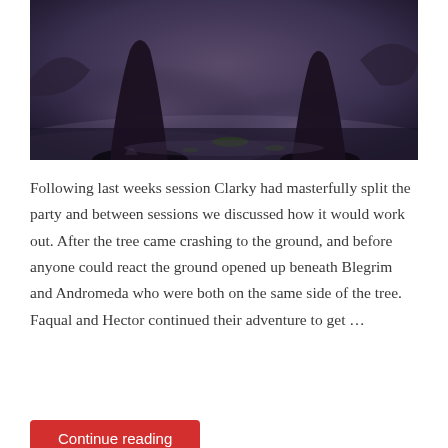[Figure (photo): Dark fantasy scene with large creature feet/claws on a misty, gloomy ground with scattered debris and atmospheric purple-grey lighting]
Following last weeks session Clarky had masterfully split the party and between sessions we discussed how it would work out. After the tree came crashing to the ground, and before anyone could react the ground opened up beneath Blegrim and Andromeda who were both on the same side of the tree. Faqual and Hector continued their adventure to get …
Continue reading